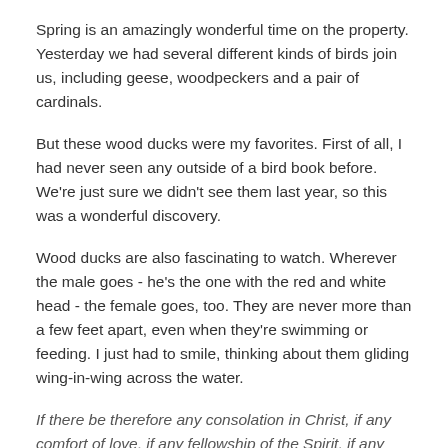Spring is an amazingly wonderful time on the property. Yesterday we had several different kinds of birds join us, including geese, woodpeckers and a pair of cardinals.
But these wood ducks were my favorites. First of all, I had never seen any outside of a bird book before. We're just sure we didn't see them last year, so this was a wonderful discovery.
Wood ducks are also fascinating to watch. Wherever the male goes - he's the one with the red and white head - the female goes, too. They are never more than a few feet apart, even when they're swimming or feeding. I just had to smile, thinking about them gliding wing-in-wing across the water.
If there be therefore any consolation in Christ, if any comfort of love, if any fellowship of the Spirit, if any bowels and mercies, Fulfil ye my joy, that ye be likeminded, having the same love, being of one accord, of one mind. Let nothing be done through